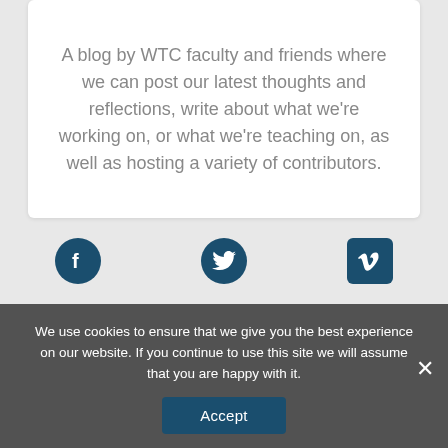A blog by WTC faculty and friends where we can post our latest thoughts and reflections, write about what we're working on, or what we're teaching on, as well as hosting a variety of contributors.
[Figure (infographic): Three social media icons: Facebook (circle), Twitter (circle), Vimeo (square), rendered in dark teal/navy color]
We use cookies to ensure that we give you the best experience on our website. If you continue to use this site we will assume that you are happy with it.